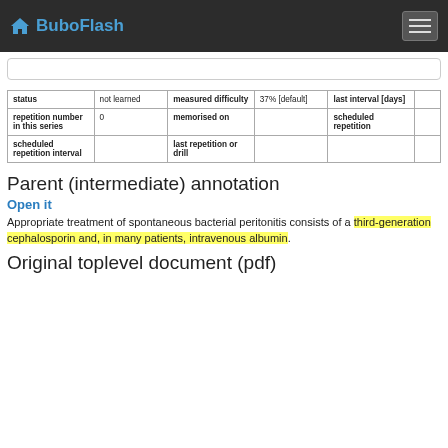BuboFlash
| status |  | measured difficulty |  | last interval [days] |  |
| --- | --- | --- | --- | --- | --- |
| status | not learned | measured difficulty | 37% [default] | last interval [days] |  |
| repetition number in this series | 0 | memorised on |  | scheduled repetition |  |
| scheduled repetition interval |  | last repetition or drill |  |  |  |
Parent (intermediate) annotation
Open it
Appropriate treatment of spontaneous bacterial peritonitis consists of a third-generation cephalosporin and, in many patients, intravenous albumin.
Original toplevel document (pdf)